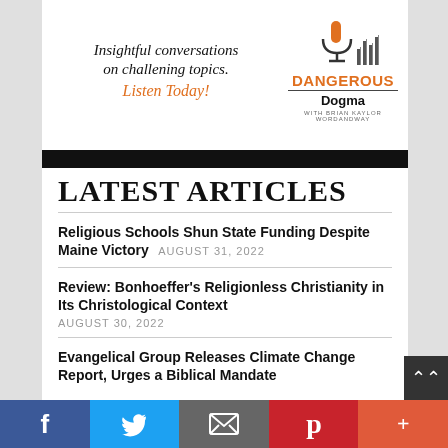[Figure (illustration): Advertisement banner for 'Dangerous Dogma' podcast. Text reads: 'Insightful conversations on challening topics. Listen Today!' with a microphone and bar chart icon, and the podcast name 'DANGEROUS Dogma WITH BRIAN KAYLOR WORDANDWAY']
LATEST ARTICLES
Religious Schools Shun State Funding Despite Maine Victory AUGUST 31, 2022
Review: Bonhoeffer's Religionless Christianity in Its Christological Context AUGUST 30, 2022
Evangelical Group Releases Climate Change Report, Urges a Biblical Mandate